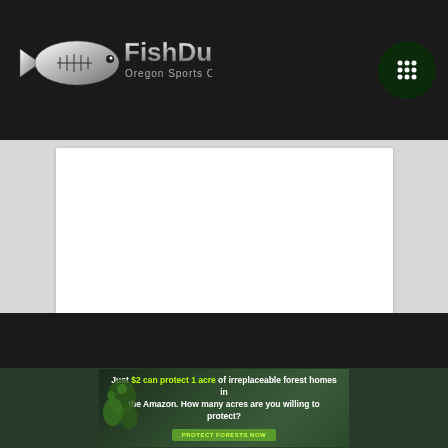FishDuck Oregon Sports Community
[Figure (other): White content area placeholder (article or embedded video area)]
[Figure (other): Advertisement banner: 'Just $2 can protect 1 acre of irreplaceable forest homes in the Amazon. How many acres are you willing to protect?' with a green 'PROTECT FORESTS NOW' button and forest imagery on the left.]